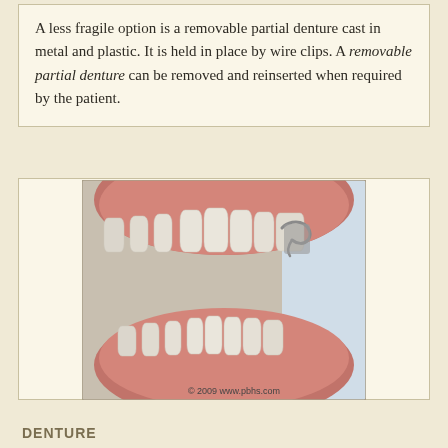A less fragile option is a removable partial denture cast in metal and plastic. It is held in place by wire clips. A removable partial denture can be removed and reinserted when required by the patient.
[Figure (illustration): 3D illustration of a mouth showing teeth and gums with a removable partial denture with metal wire clips. Copyright 2009 www.pbhs.com]
DENTURE